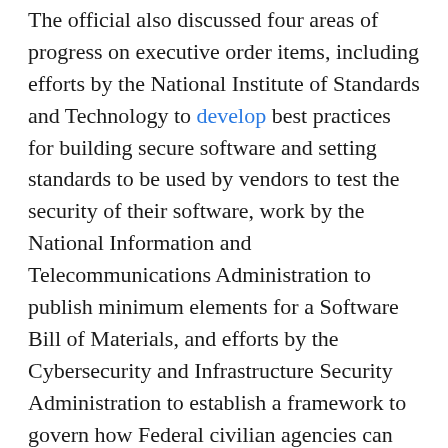The official also discussed four areas of progress on executive order items, including efforts by the National Institute of Standards and Technology to develop best practices for building secure software and setting standards to be used by vendors to test the security of their software, work by the National Information and Telecommunications Administration to publish minimum elements for a Software Bill of Materials, and efforts by the Cybersecurity and Infrastructure Security Administration to establish a framework to govern how Federal civilian agencies can securely use cloud services.
In addition, the official talked about ongoing work to address critical infrastructure vulnerabilities, and its launch in April of a pilot effort on Electricity Subsector security.
“Under this pilot, we have already seen over 145 of 255 priority electricity entities that the Department of Energy and DHS identified that service over 76 million